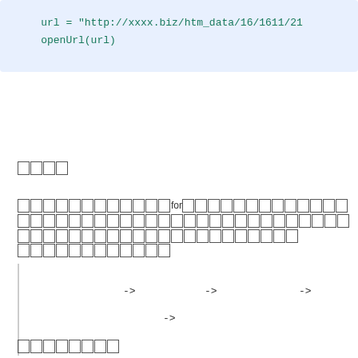url = "http://xxxx.biz/htm_data/16/1611/21
openUrl(url)
□□□□
□□□□□□□□□□□□□forの□□□□□□□□□□□□□□□□□□□□□□□□□□□□□□□□□□□□□□□□□□□□□□□□□□□□□□□□□□□□□□□□□□□□□□□□□□□□□□□□
[Figure (flowchart): Flowchart with arrows pointing right (->): three arrows on one row and one arrow on the second row]
□□□□□□□□